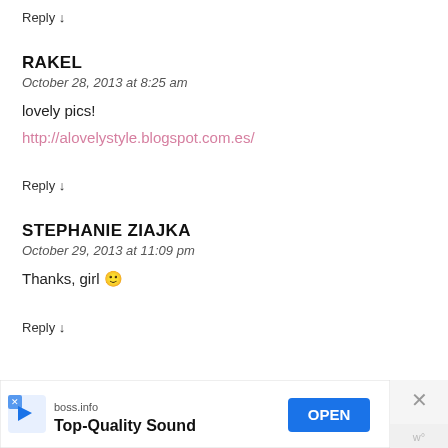Reply ↓
RAKEL
October 28, 2013 at 8:25 am
lovely pics!
http://alovelystyle.blogspot.com.es/
Reply ↓
STEPHANIE ZIAJKA
October 29, 2013 at 11:09 pm
Thanks, girl 🙂
Reply ↓
[Figure (infographic): Advertisement banner: boss.info, Top-Quality Sound, OPEN button, close X button, and w° logo]